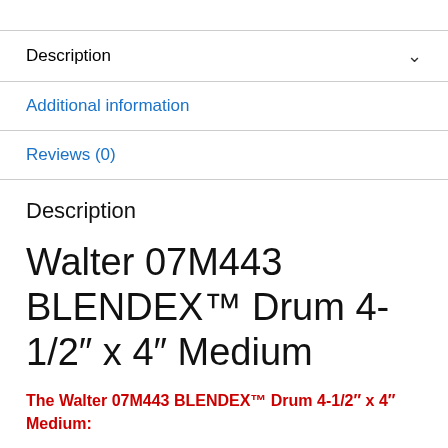Description
Additional information
Reviews (0)
Description
Walter 07M443 BLENDEX™ Drum 4-1/2″ x 4″ Medium
The Walter 07M443 BLENDEX™ Drum 4-1/2″ x 4″ Medium: